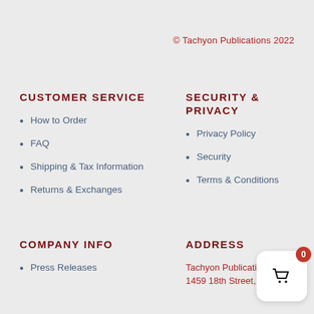© Tachyon Publications 2022
CUSTOMER SERVICE
How to Order
FAQ
Shipping & Tax Information
Returns & Exchanges
SECURITY & PRIVACY
Privacy Policy
Security
Terms & Conditions
COMPANY INFO
Press Releases
ADDRESS
Tachyon Publications LLC
1459 18th Street, #139